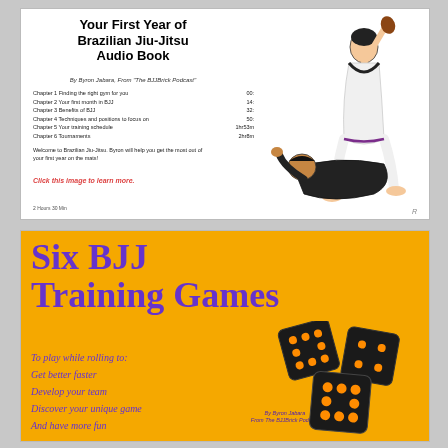[Figure (illustration): Ad for 'Your First Year of Brazilian Jiu-Jitsu Audio Book' by Byron Jabara from The BJJBrick Podcast. Lists 6 chapters with timestamps, welcome text, price $11.99, and a BJJ cartoon illustration.]
[Figure (illustration): Ad for 'Six BJJ Training Games' on orange background with purple text. Lists benefits: Get better faster, Develop your team, Discover your unique game, And have more fun. By Byron Jabara from The BJJBrick Podcast. Dice illustration on right.]